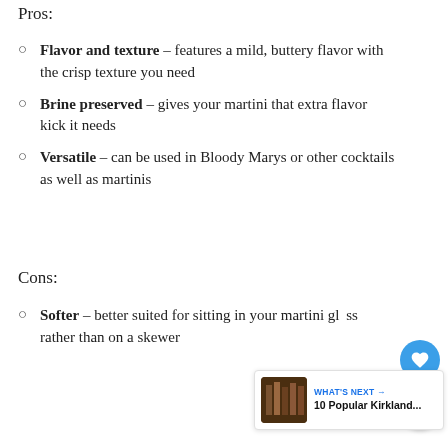Pros:
Flavor and texture – features a mild, buttery flavor with the crisp texture you need
Brine preserved – gives your martini that extra flavor kick it needs
Versatile – can be used in Bloody Marys or other cocktails as well as martinis
Cons:
Softer – better suited for sitting in your martini glass rather than on a skewer